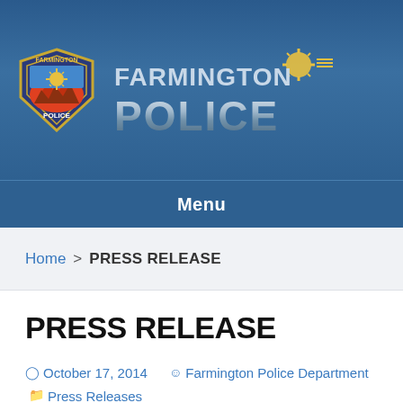[Figure (logo): Farmington Police Department badge and logo with text FARMINGTON POLICE on a blue background header banner]
Menu
Home > PRESS RELEASE
PRESS RELEASE
October 17, 2014   Farmington Police Department   Press Releases